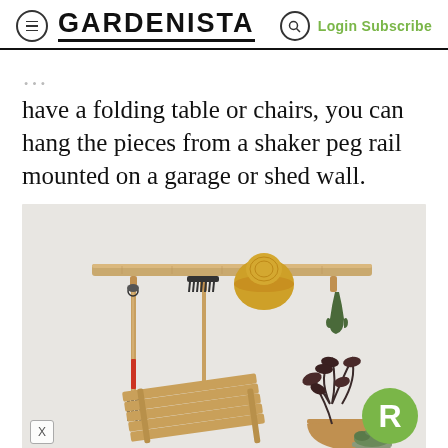GARDENISTA  Login Subscribe
have a folding table or chairs, you can hang the pieces from a shaker peg rail mounted on a garage or shed wall.
[Figure (photo): Garden tools (pitchfork, rake, trowel) and a straw hat hanging on a wooden shaker peg rail mounted on a white wall, with a wooden folding stool and potted plants on the floor below.]